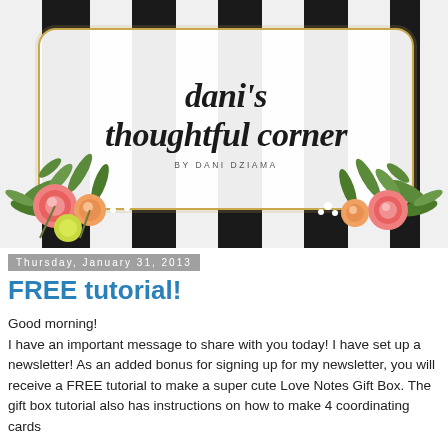[Figure (logo): Blog header logo for 'dani's thoughtful corner by DANI DZIAMA' — decorative script text on white label with gold border, against black and white vertical stripes background, with watercolor floral arrangements on left and right sides]
Thursday, January 31, 2013
FREE tutorial!
Good morning!
I have an important message to share with you today!  I have set up a newsletter!  As an added bonus for signing up for my newsletter, you will receive a FREE tutorial to make a super cute Love Notes Gift Box.  The gift box tutorial also has instructions on how to make 4 coordinating cards